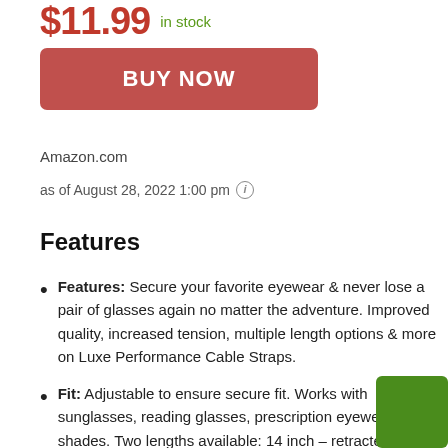$11.99 in stock
[Figure (other): BUY NOW button in red/coral color]
Amazon.com
as of August 28, 2022 1:00 pm ⓘ
Features
Features: Secure your favorite eyewear & never lose a pair of glasses again no matter the adventure. Improved quality, increased tension, multiple length options & more on Luxe Performance Cable Straps.
Fit: Adjustable to ensure secure fit. Works with sunglasses, reading glasses, prescription eyewear, RX shades. Two lengths available: 14 inch – retracted is 9 inches & 14 inches extended; 16 inch